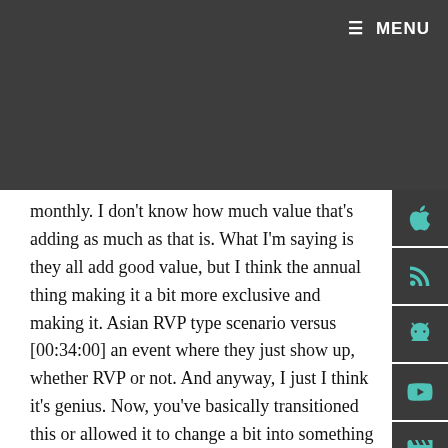≡ MENU
monthly. I don't know how much value that's adding as much as that is. What I'm saying is they all add good value, but I think the annual thing making it a bit more exclusive and making it. Asian RVP type scenario versus [00:34:00] an event where they just show up, whether RVP or not. And anyway, I just I think it's genius. Now, you've basically transitioned this or allowed it to change a bit into something a bit more exclusive. I want you to talk more about that.
Brad Randall: So we've been noticing over the last two years that we have more and more clients providing more doors for us. So everybody loves I mean, I'm a